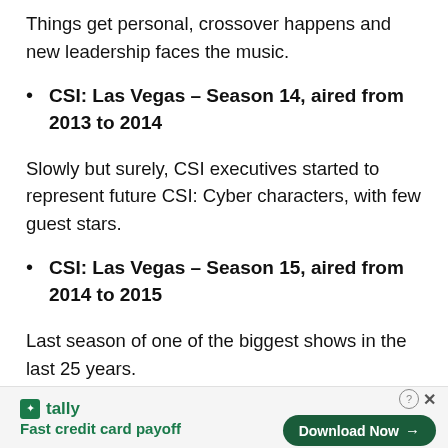Things get personal, crossover happens and new leadership faces the music.
CSI: Las Vegas – Season 14, aired from 2013 to 2014
Slowly but surely, CSI executives started to represent future CSI: Cyber characters, with few guest stars.
CSI: Las Vegas – Season 15, aired from 2014 to 2015
Last season of one of the biggest shows in the last 25 years.
[Figure (other): Tally advertisement banner with logo, tagline 'Fast credit card payoff', and 'Download Now' button]